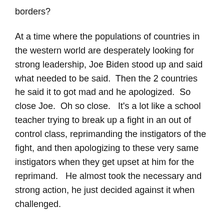borders?
At a time where the populations of countries in the western world are desperately looking for strong leadership, Joe Biden stood up and said what needed to be said.  Then the 2 countries he said it to got mad and he apologized.  So close Joe.  Oh so close.   It's a lot like a school teacher trying to break up a fight in an out of control class, reprimanding the instigators of the fight, and then apologizing to these very same instigators when they get upset at him for the reprimand.   He almost took the necessary and strong action, he just decided against it when challenged.
Unfortunately the end result makes someone who came close to displaying the strength we need in these difficult times look very weak instead.  But he almost did what he